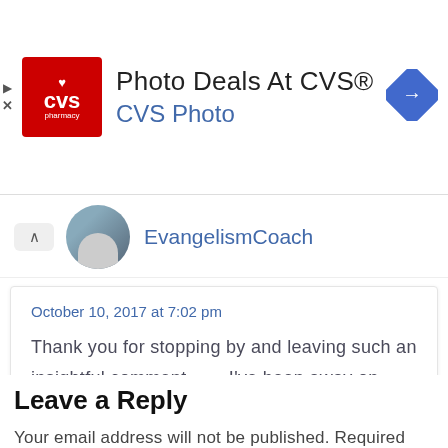[Figure (screenshot): CVS Pharmacy advertisement banner with red CVS logo, title 'Photo Deals At CVS®', subtitle 'CVS Photo', and blue navigation diamond icon on the right]
EvangelismCoach
October 10, 2017 at 7:02 pm
Thank you for stopping by and leaving such an insightful comment. . . . I've been away on mission work and just now catching back up.
Leave a Reply
Your email address will not be published. Required fields are marked *